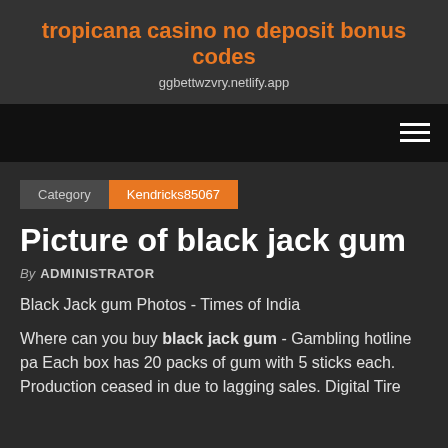tropicana casino no deposit bonus codes
ggbettwzvry.netlify.app
Picture of black jack gum
By ADMINISTRATOR
Black Jack gum Photos - Times of India
Where can you buy black jack gum - Gambling hotline pa Each box has 20 packs of gum with 5 sticks each. Production ceased in due to lagging sales. Digital Tire